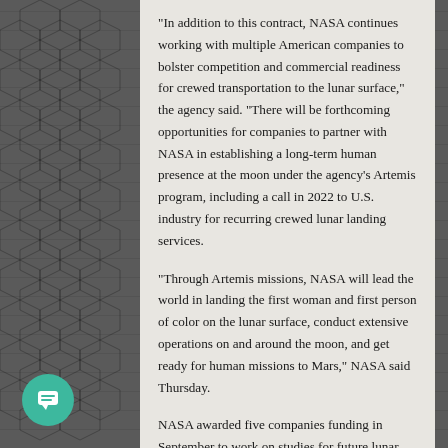“In addition to this contract, NASA continues working with multiple American companies to bolster competition and commercial readiness for crewed transportation to the lunar surface,” the agency said. “There will be forthcoming opportunities for companies to partner with NASA in establishing a long-term human presence at the moon under the agency’s Artemis program, including a call in 2022 to U.S. industry for recurring crewed lunar landing services.
“Through Artemis missions, NASA will lead the world in landing the first woman and first person of color on the lunar surface, conduct extensive operations on and around the moon, and get ready for human missions to Mars,” NASA said Thursday.
NASA awarded five companies funding in September to work on studies for future lunar